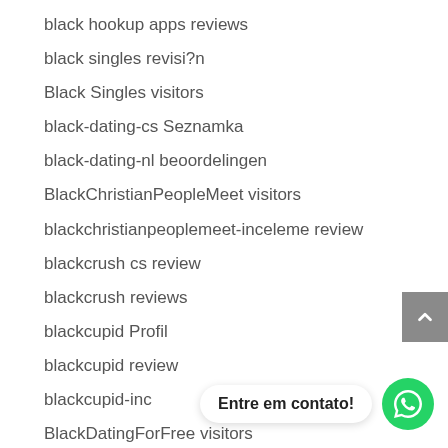black hookup apps reviews
black singles revisi?n
Black Singles visitors
black-dating-cs Seznamka
black-dating-nl beoordelingen
BlackChristianPeopleMeet visitors
blackchristianpeoplemeet-inceleme review
blackcrush cs review
blackcrush reviews
blackcupid Profil
blackcupid review
blackcupid-inc…
BlackDatingForFree visitors
Entre em contato!